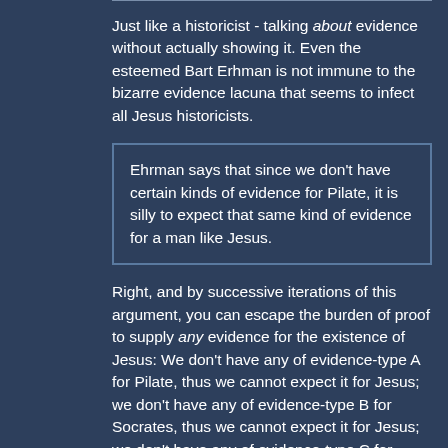Just like a historicist - talking about evidence without actually showing it. Even the esteemed Bart Erhman is not immune to the bizarre evidence lacuna that seems to infect all Jesus historicists.
Ehrman says that since we don't have certain kinds of evidence for Pilate, it is silly to expect that same kind of evidence for a man like Jesus.
Right, and by successive iterations of this argument, you can escape the burden of proof to supply any evidence for the existence of Jesus: We don't have any of evidence-type A for Pilate, thus we cannot expect it for Jesus; we don't have any of evidence-type B for Socrates, thus we cannot expect it for Jesus; we don't have any of evidence-type C for Caesar, thus we cannot expect it for Jesus. Repeat until you've covered all types of evidence, and